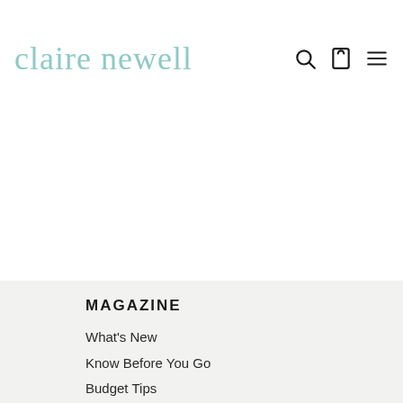claire newell
MAGAZINE
What's New
Know Before You Go
Budget Tips